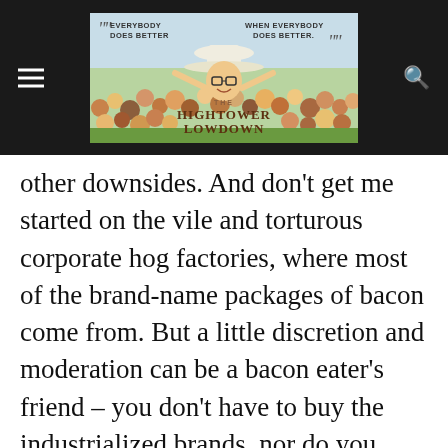[Figure (logo): The Hightower Lowdown website header banner with navigation hamburger menu on left and search icon on right. Banner shows illustrated crowd scene with text 'Everybody Does Better When Everybody Does Better' and 'The Hightower Lowdown' logo.]
other downsides. And don't get me started on the vile and torturous corporate hog factories, where most of the brand-name packages of bacon come from. But a little discretion and moderation can be a bacon eater's friend – you don't have to buy the industrialized brands, nor do you have to eat a pound a day, or even a week.
What do bacon eaters the latest effort along...